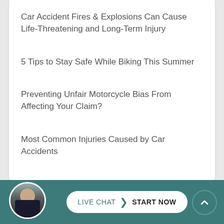Car Accident Fires & Explosions Can Cause Life-Threatening and Long-Term Injury
5 Tips to Stay Safe While Biking This Summer
Preventing Unfair Motorcycle Bias From Affecting Your Claim?
Most Common Injuries Caused by Car Accidents
Will My Personal Injury Case go to Court?
[Figure (other): Live chat footer bar with attorney avatar photo, LIVE CHAT START NOW button, and scroll-to-top arrow button on teal background]